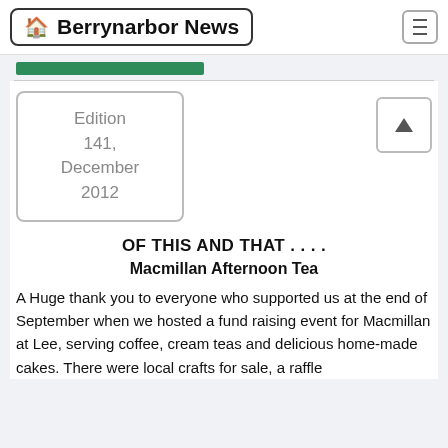Berrynarbor News
Edition 141, December 2012
OF THIS AND THAT . . . .
Macmillan Afternoon Tea
A Huge thank you to everyone who supported us at the end of September when we hosted a fund raising event for Macmillan at Lee, serving coffee, cream teas and delicious home-made cakes. There were local crafts for sale, a raffle